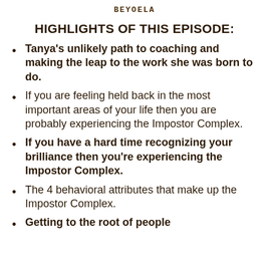BEYOELA
HIGHLIGHTS OF THIS EPISODE:
Tanya's unlikely path to coaching and making the leap to the work she was born to do.
If you are feeling held back in the most important areas of your life then you are probably experiencing the Impostor Complex.
If you have a hard time recognizing your brilliance then you're experiencing the Impostor Complex.
The 4 behavioral attributes that make up the Impostor Complex.
Getting to the root of people